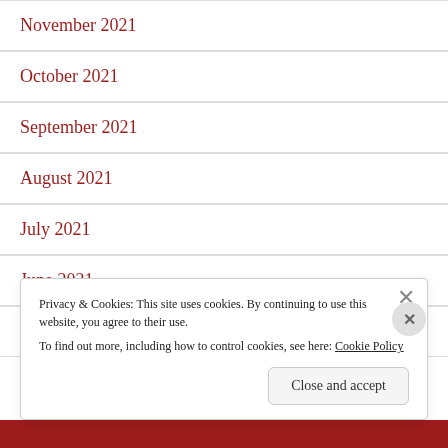November 2021
October 2021
September 2021
August 2021
July 2021
June 2021
May 2021
Privacy & Cookies: This site uses cookies. By continuing to use this website, you agree to their use.
To find out more, including how to control cookies, see here: Cookie Policy